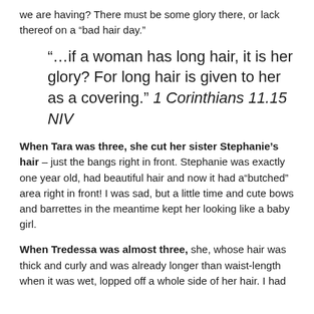we are having?  There must be some glory there, or lack thereof on a “bad hair day.”
“…if a woman has long hair, it is her glory?  For long hair is given to her as a covering.”  1 Corinthians 11.15 NIV
When Tara was three, she cut her sister Stephanie’s hair – just the bangs right in front.  Stephanie was exactly one year old, had beautiful hair and now it had a“butched” area right in front!  I was sad, but a little time and cute bows and barrettes in the meantime kept her looking like a baby girl.
When Tredessa was almost three, she, whose hair was thick and curly and was already longer than waist-length when it was wet, lopped off a whole side of her hair.  I had